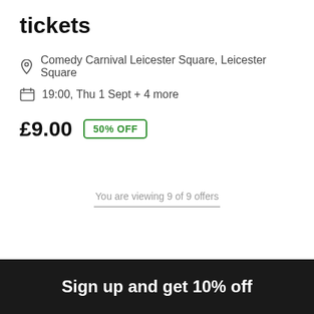tickets
Comedy Carnival Leicester Square, Leicester Square
19:00, Thu 1 Sept + 4 more
£9.00  50% OFF
You are viewing 9 of 9 offers
Sign up and get 10% off